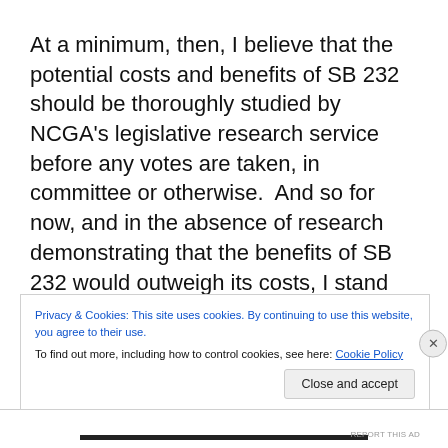At a minimum, then, I believe that the potential costs and benefits of SB 232 should be thoroughly studied by NCGA's legislative research service before any votes are taken, in committee or otherwise.  And so for now, and in the absence of research demonstrating that the benefits of SB 232 would outweigh its costs, I stand with North Carolina's leading trade association for prime contractors, Carolinas AGC, in opposing the bill (full disclosure: Lewis
Privacy & Cookies: This site uses cookies. By continuing to use this website, you agree to their use.
To find out more, including how to control cookies, see here: Cookie Policy
Close and accept